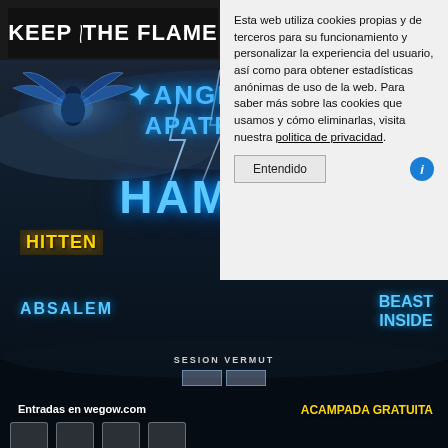[Figure (screenshot): Keep The Flame website logo in dark header area]
Esta web utiliza cookies propias y de terceros para su funcionamiento y personalizar la experiencia del usuario, así como para obtener estadísticas anónimas de uso de la web. Para saber más sobre las cookies que usamos y cómo eliminarlas, visita nuestra politica de privacidad.
Entendido
[Figure (photo): Concert/festival promotional poster for Angelus Apatrida, Hamlet, Hitten, Eden, Absalem, Beast Inside with blue lightning storm background. Includes sponsor logos, 'Entradas en wegow.com' and 'ACAMPADA GRATUITA' text. Sesion Vermut section shown.]